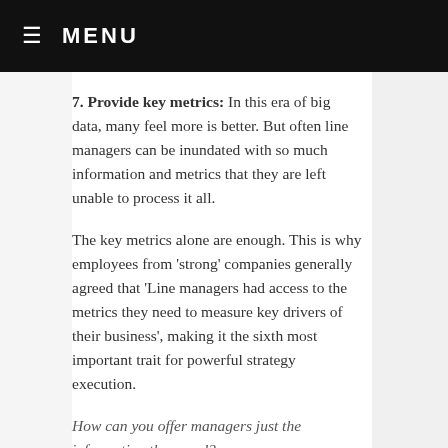≡ MENU
7. Provide key metrics: In this era of big data, many feel more is better. But often line managers can be inundated with so much information and metrics that they are left unable to process it all.
The key metrics alone are enough. This is why employees from 'strong' companies generally agreed that 'Line managers had access to the metrics they need to measure key drivers of their business', making it the sixth most important trait for powerful strategy execution.
How can you offer managers just the information they need?
Think quality, not quantity. Keep